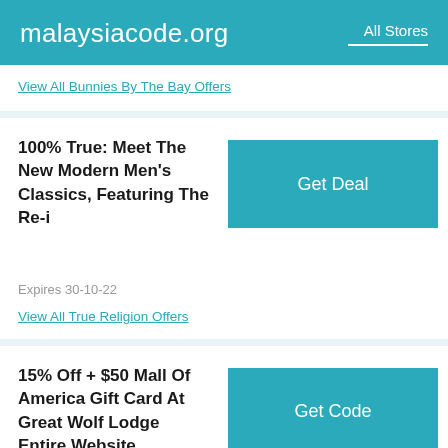malaysiacode.org  All Stores
View All Bunnies By The Bay Offers
100% True: Meet The New Modern Men's Classics, Featuring The Re-i
Expires 30-10-22
Get Deal
View All True Religion Offers
15% Off + $50 Mall Of America Gift Card At Great Wolf Lodge Entire Website Greatwolf.com
Expires 31-10-22
Get Code